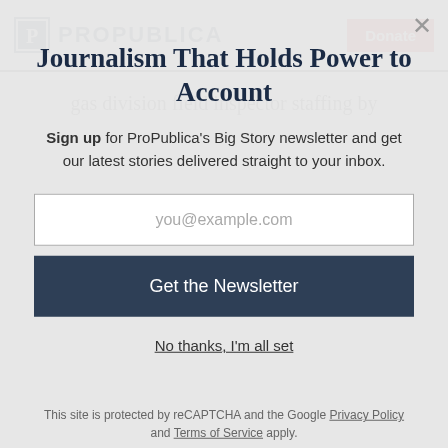ProPublica | Donate
gas division field inspector staffing by
Journalism That Holds Power to Account
Sign up for ProPublica's Big Story newsletter and get our latest stories delivered straight to your inbox.
you@example.com
Get the Newsletter
No thanks, I'm all set
This site is protected by reCAPTCHA and the Google Privacy Policy and Terms of Service apply.